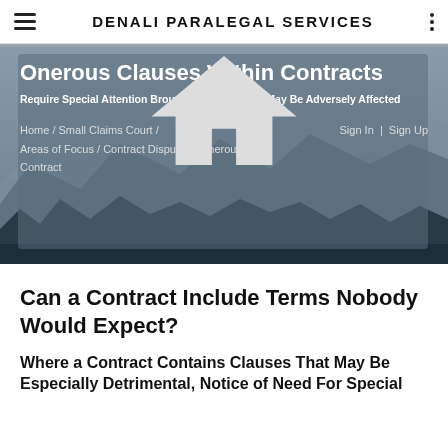DENALI PARALEGAL SERVICES
Onerous Clauses Within Contracts
Require Special Attention Brought to Those Who May Be Adversely Affected
Home / Small Claims Court / Areas of Focus / Contract Disputes / Onerous Term Contract    Sign In | Sign Up
Can a Contract Include Terms Nobody Would Expect?
Where a Contract Contains Clauses That May Be Especially Detrimental, Notice of Need For Special